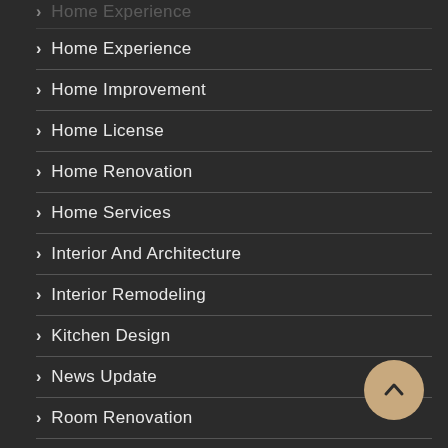Home Experience
Home Improvement
Home License
Home Renovation
Home Services
Interior And Architecture
Interior Remodeling
Kitchen Design
News Update
Room Renovation